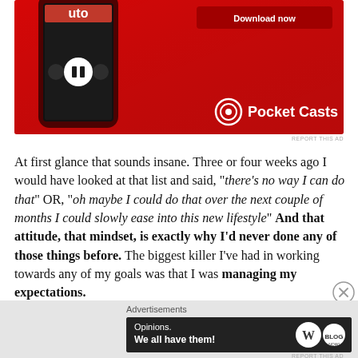[Figure (illustration): Pocket Casts app advertisement showing a red smartphone with a podcast player UI and a 'Download now' button, with the Pocket Casts logo at bottom right]
REPORT THIS AD
At first glance that sounds insane. Three or four weeks ago I would have looked at that list and said, "there's no way I can do that" OR, "oh maybe I could do that over the next couple of months I could slowly ease into this new lifestyle" And that attitude, that mindset, is exactly why I'd never done any of those things before. The biggest killer I've had in working towards any of my goals was that I was managing my expectations.
Advertisements
[Figure (illustration): WordPress advertisement: 'Opinions. We all have them!' with WordPress and Blog logos on dark background]